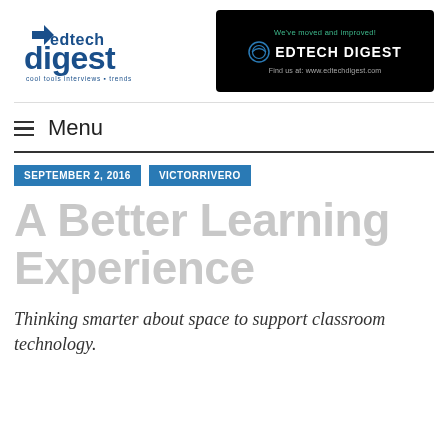[Figure (logo): EdTech Digest logo — blue text reading 'edtech digest' with arrow icon and tagline 'cool tools · interviews · trends']
[Figure (logo): Black banner ad: 'We've moved and improved!' with EdTech Digest circular logo and text, 'Find us at: www.edtechdigest.com']
Menu
SEPTEMBER 2, 2016
VICTORRIVERO
A Better Learning Experience
Thinking smarter about space to support classroom technology.